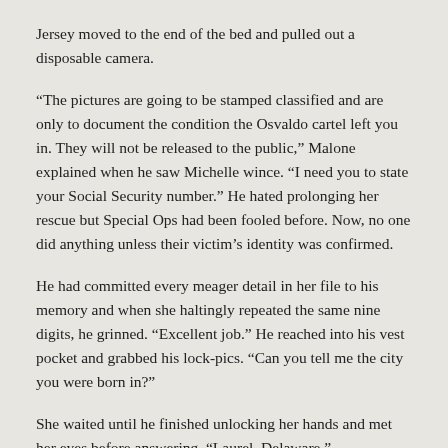Jersey moved to the end of the bed and pulled out a disposable camera.
“The pictures are going to be stamped classified and are only to document the condition the Osvaldo cartel left you in. They will not be released to the public,” Malone explained when he saw Michelle wince. “I need you to state your Social Security number.” He hated prolonging her rescue but Special Ops had been fooled before. Now, no one did anything unless their victim’s identity was confirmed.
He had committed every meager detail in her file to his memory and when she haltingly repeated the same nine digits, he grinned. “Excellent job.” He reached into his vest pocket and grabbed his lock-pics. “Can you tell me the city you were born in?”
She waited until he finished unlocking her hands and met her eyes before answering, “Laurel, Delaware.”
“Excellent.”
Gunfire and explosions filled the air around them.
Michelle jolted and her pathetic scream sounded more like a